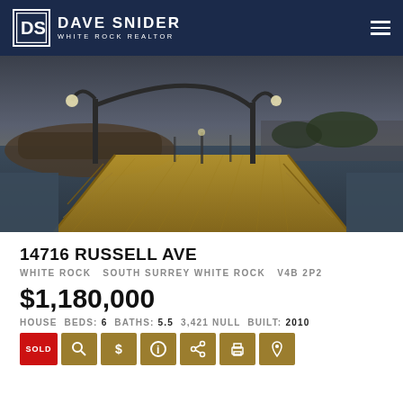Dave Snider White Rock Realtor
[Figure (photo): Panoramic photo of a wooden pier/boardwalk extending over water toward a hillside town, with ornamental street lamps, overcast sky.]
14716 RUSSELL AVE
WHITE ROCK   SOUTH SURREY WHITE ROCK   V4B 2P2
$1,180,000
HOUSE  BEDS: 6  BATHS: 5.5  3,421 NULL  BUILT: 2010
[Figure (infographic): Row of action icon buttons: SOLD (red), and six gold square icon buttons with symbols for search, dollar, info, share, print, and map pin.]